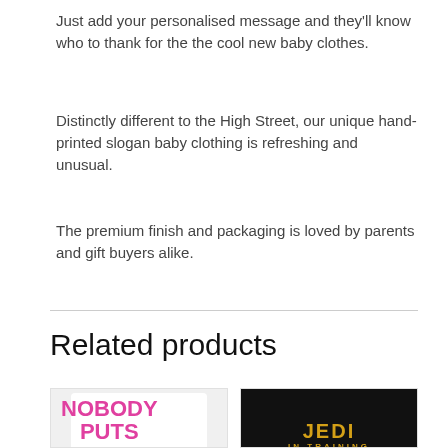Just add your personalised message and they'll know who to thank for the the cool new baby clothes.
Distinctly different to the High Street, our unique hand-printed slogan baby clothing is refreshing and unusual.
The premium finish and packaging is loved by parents and gift buyers alike.
Related products
[Figure (photo): White baby bodysuit with 'NOBODY PUTS BABY IN THE (corner)' printed in pink text]
[Figure (photo): Black baby onesie with 'JEDI IN TRAINING' printed in gold/yellow text]